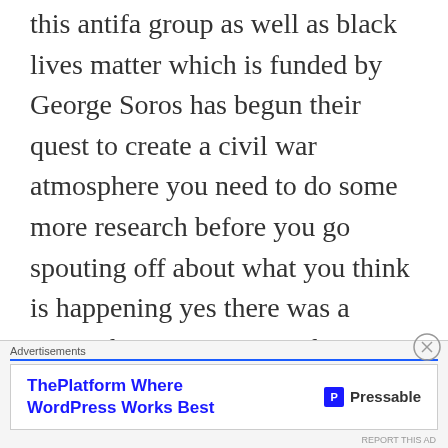this antifa group as well as black lives matter which is funded by George Soros has begun their quest to create a civil war atmosphere you need to do some more research before you go spouting off about what you think is happening yes there was a group there supporting white nationalism but it was not the KKK the racist are in antifa and black lives matter there will come a time when our works will be exposed whether or not we are on the right side of history or not do
Advertisements
[Figure (other): Advertisement banner for Pressable: 'ThePlatform Where WordPress Works Best' with Pressable logo on the right]